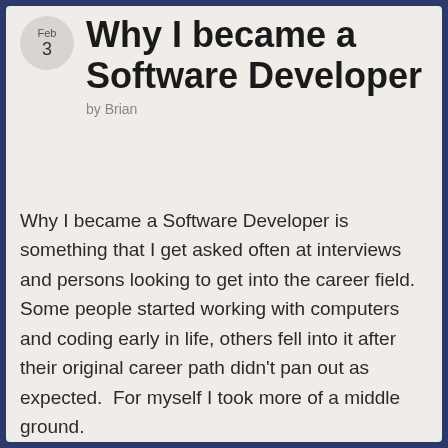Why I became a Software Developer
by Brian
Why I became a Software Developer is something that I get asked often at interviews and persons looking to get into the career field.  Some people started working with computers and coding early in life, others fell into it after their original career path didn't pan out as expected.  For myself I took more of a middle ground.
Growing up I always wanted to be a weather forecaster.  The power of the atmosphere amazed me and grabbed my attention.  As a kid I was glued to The Weather Channel, this